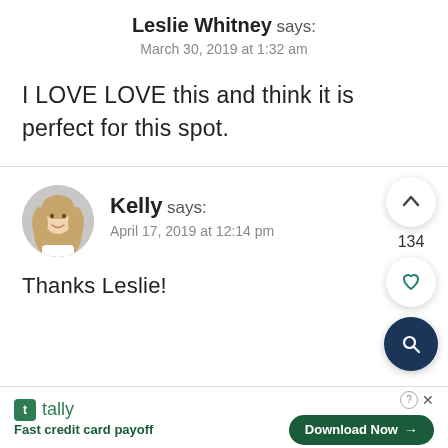Leslie Whitney says:
March 30, 2019 at 1:32 am
I LOVE LOVE this and think it is perfect for this spot.
[Figure (photo): Circular avatar photo of Kelly, a woman with long blonde hair]
Kelly says:
April 17, 2019 at 12:14 pm
Thanks Leslie!
[Figure (infographic): Tally app advertisement banner: Fast credit card payoff with Download Now button]